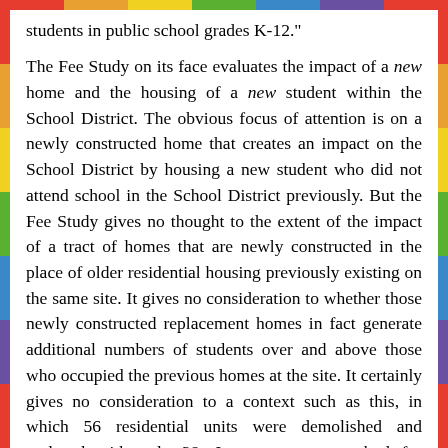students in public school grades K-12."
The Fee Study on its face evaluates the impact of a new home and the housing of a new student within the School District. The obvious focus of attention is on a newly constructed home that creates an impact on the School District by housing a new student who did not attend school in the School District previously. But the Fee Study gives no thought to the extent of the impact of a tract of homes that are newly constructed in the place of older residential housing previously existing on the same site. It gives no consideration to whether those newly constructed replacement homes in fact generate additional numbers of students over and above those who occupied the previous homes at the site. It certainly gives no consideration to a context such as this, in which 56 residential units were demolished and replaced with only 38. It suggests no method for estimating the impact of new